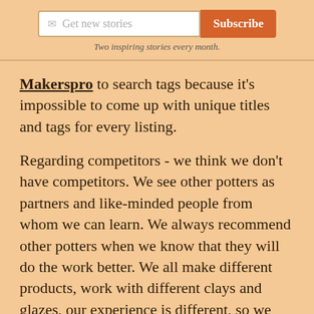[Figure (screenshot): Email subscription widget with input field showing envelope icon and placeholder text 'Get new stories', and an orange 'Subscribe' button]
Two inspiring stories every month.
Makerspro to search tags because it's impossible to come up with unique titles and tags for every listing.

Regarding competitors - we think we don't have competitors. We see other potters as partners and like-minded people from whom we can learn. We always recommend other potters when we know that they will do the work better. We all make different products, work with different clays and glazes, our experience is different, so we prefer sharing our knowledge and learning